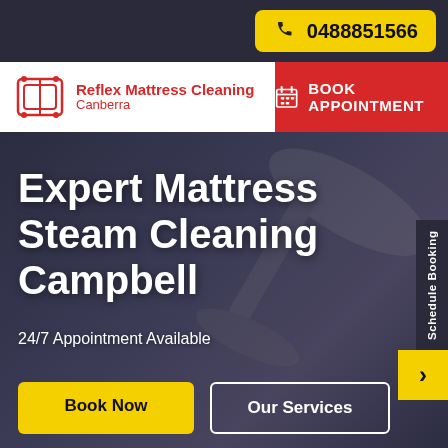0488851566
[Figure (logo): Reflex Mattress Cleaning Canberra logo with red mattress icon]
BOOK APPOINTMENT
Expert Mattress Steam Cleaning Campbell
24/7 Appointment Available
Schedule Booking
Book Now
Our Services